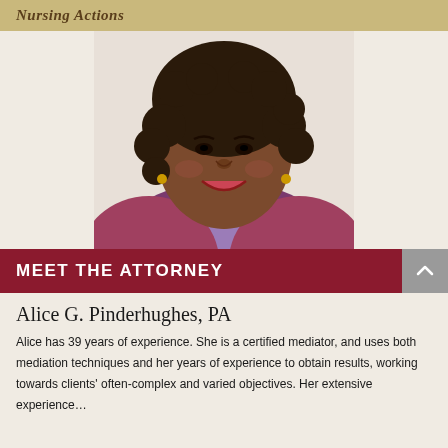Nursing Actions
[Figure (photo): Professional headshot of Alice G. Pinderhughes, PA — a smiling woman with curly dark hair wearing a purple scarf and colorful tweed jacket]
MEET THE ATTORNEY
Alice G. Pinderhughes, PA
Alice has 39 years of experience. She is a certified mediator, and uses both mediation techniques and her years of experience to obtain results, working towards clients' often-complex and varied objectives. Her extensive experience…